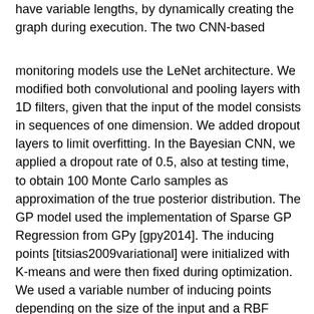have variable lengths, by dynamically creating the graph during execution. The two CNN-based
monitoring models use the LeNet architecture. We modified both convolutional and pooling layers with 1D filters, given that the input of the model consists in sequences of one dimension. We added dropout layers to limit overfitting. In the Bayesian CNN, we applied a dropout rate of 0.5, also at testing time, to obtain 100 Monte Carlo samples as approximation of the true posterior distribution. The GP model used the implementation of Sparse GP Regression from GPy [gpy2014]. The inducing points [titsias2009variational] were initialized with K-means and were then fixed during optimization. We used a variable number of inducing points depending on the size of the input and a RBF kernel with Automatic Relevance Determination (ARD). In all experiments we used 75% data for training and 25% for test and the Adam optimizer with default learning rate [DBLP:journals/corr/KingmaB14]. Only in the dataset flights-ext we used mini-batches of size 128 to speed up the training. For the monitored models, we used the implementation available from the M4 competition benchmark Github repository22https://github.com/M4Competition/M4-